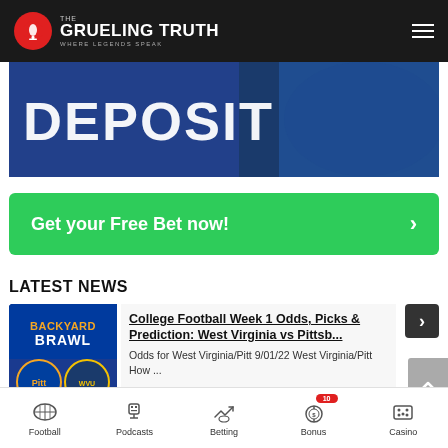THE GRUELING TRUTH — WHERE LEGENDS SPEAK
[Figure (photo): Sports betting promotional banner with 'DEPOSIT' text and athlete in blue jersey]
[Figure (other): Green CTA button: Get your Free Bet now! >]
LATEST NEWS
[Figure (photo): Backyard Brawl thumbnail showing Pitt vs West Virginia logos]
College Football Week 1 Odds, Picks & Prediction: West Virginia vs Pittsb...
Odds for West Virginia/Pitt 9/01/22 West Virginia/Pitt How ...
Caesars Sports Bonus
100% up to $1250
Football | Podcasts | Betting | Bonus 10 | Casino